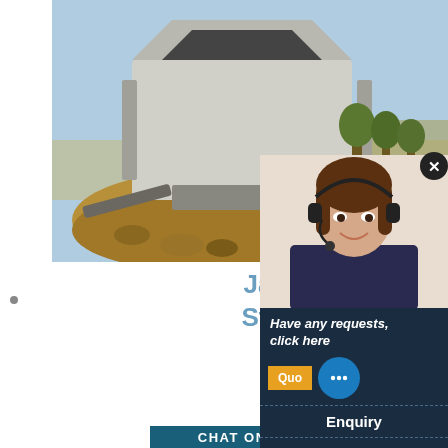[Figure (photo): Industrial jaw/cone crusher machine with rock pile in outdoor setting under blue sky]
[Figure (photo): Female customer service representative wearing headset, smiling]
Jaw Crusher, Cone Crusher, Stone Crusher Manufacturer
2021-7-19 · Jaw Crusher : We are Manufacturer, Exporter of Jaw Crusher, Cone Crusher, Stone Crusher, Artificial Sand Making Machine in Nashik, India
Have any requests, click here
Quote
Enquiry
limingjlmofen@sina.com
CHAT ONLINE